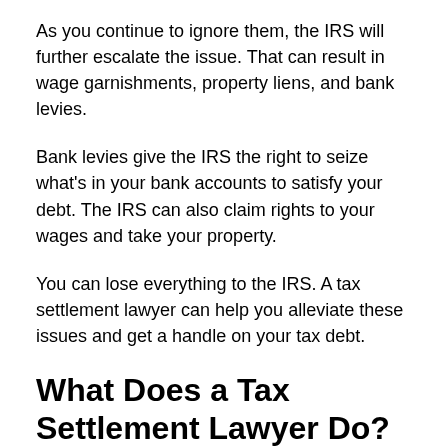As you continue to ignore them, the IRS will further escalate the issue. That can result in wage garnishments, property liens, and bank levies.
Bank levies give the IRS the right to seize what's in your bank accounts to satisfy your debt. The IRS can also claim rights to your wages and take your property.
You can lose everything to the IRS. A tax settlement lawyer can help you alleviate these issues and get a handle on your tax debt.
What Does a Tax Settlement Lawyer Do?
When you hear tax settlement lawyer, you're likely to think of those TV commercials that promise to settle tax debt for